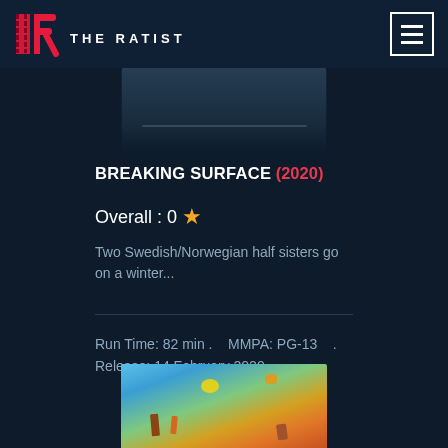THE RATIST
[Figure (photo): Movie poster top portion for Breaking Surface (2020), dark cinematic imagery]
BREAKING SURFACE (2020)
Overall : 0 ★
Two Swedish/Norwegian half sisters go on a winter...
Run Time: 82 min .   MMPA: PG-13   .  Release: 14 February 2020
[Figure (photo): Movie poster bottom portion showing animated colorful characters in sky scene]